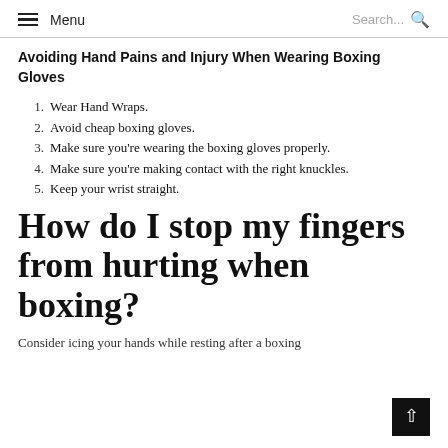Menu  Search...
Avoiding Hand Pains and Injury When Wearing Boxing Gloves
Wear Hand Wraps.
Avoid cheap boxing gloves.
Make sure you're wearing the boxing gloves properly.
Make sure you're making contact with the right knuckles.
Keep your wrist straight.
How do I stop my fingers from hurting when boxing?
Consider icing your hands while resting after a boxing